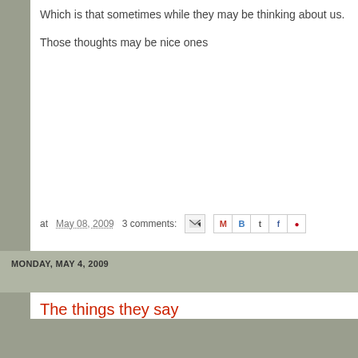Which is that sometimes while they may be thinking about us.
Those thoughts may be nice ones
at May 08, 2009   3 comments:
MONDAY, MAY 4, 2009
The things they say